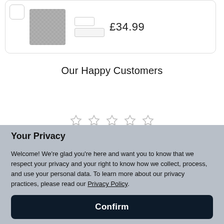[Figure (screenshot): Product card showing a grey textured item thumbnail on the left and price £34.99 on the right, inside a rounded border card.]
Our Happy Customers
[Figure (other): Five empty/unfilled star rating icons in a row.]
Your Privacy
Welcome! We're glad you're here and want you to know that we respect your privacy and your right to know how we collect, process, and use your personal data. To learn more about our privacy practices, please read our Privacy Policy.
Confirm